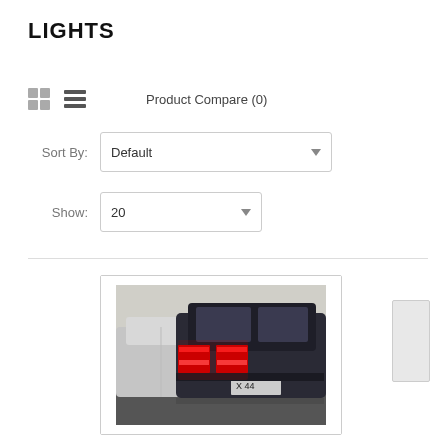LIGHTS
Product Compare (0)
Sort By: Default
Show: 20
[Figure (photo): Rear view of a dark-colored sedan car at night/dusk with red tail lights illuminated; a lighter gray car visible on the left side. License plate partially visible reading 'X 44'.]